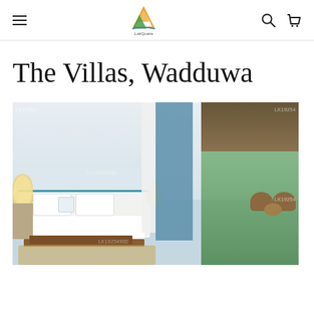LakQuara navigation header with menu, logo, search, and cart icons
The Villas, Wadduwa
[Figure (photo): Hotel room interior of The Villas, Wadduwa showing a large bed with white linens, blue accent headboard, white curtains on the left, and an outdoor garden area visible through an open-air pavilion on the right with rattan chairs. Watermark text 'LK19254' visible.]